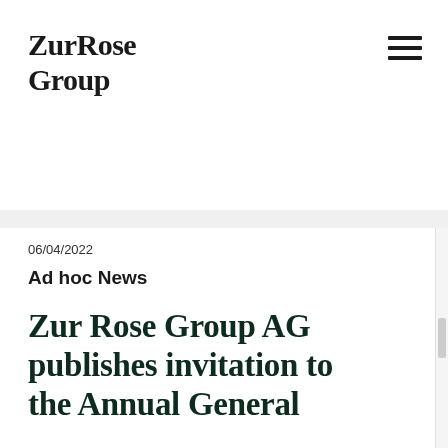[Figure (logo): ZurRose Group logo text in bold serif font]
06/04/2022
Ad hoc News
Zur Rose Group AG publishes invitation to the Annual General